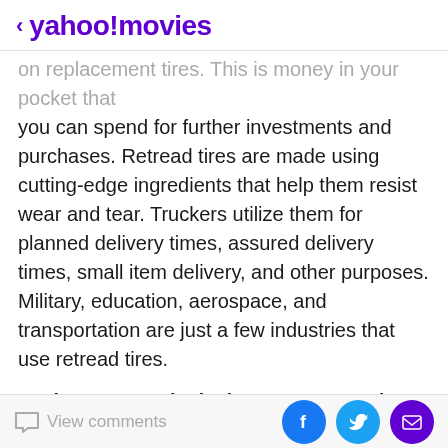< yahoo!movies
on replacement tires. This is money in your pocket that you can spend for further investments and purchases. Retread tires are made using cutting-edge ingredients that help them resist wear and tear. Truckers utilize them for planned delivery times, assured delivery times, small item delivery, and other purposes. Military, education, aerospace, and transportation are just a few industries that use retread tires.
Market USP Exclusively Encompassed: Automotive Retread Tires Market Drivers
The surge in tire consumption in passenger cars, particularly heavy commercial vehicles, is critical to driving market expansion. Furthermore, with enhanced
View comments